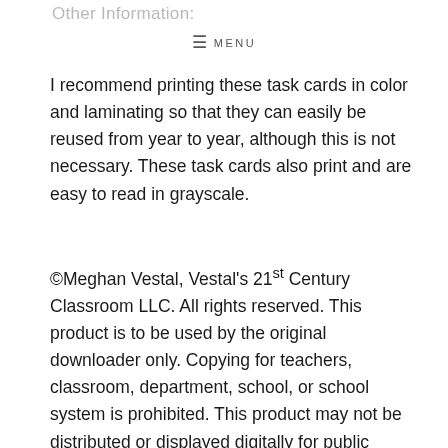Other Information:
≡ MENU
I recommend printing these task cards in color and laminating so that they can easily be reused from year to year, although this is not necessary. These task cards also print and are easy to read in grayscale.
©Meghan Vestal, Vestal's 21st Century Classroom LLC. All rights reserved. This product is to be used by the original downloader only. Copying for teachers, classroom, department, school, or school system is prohibited. This product may not be distributed or displayed digitally for public view. Teachers may NOT upload